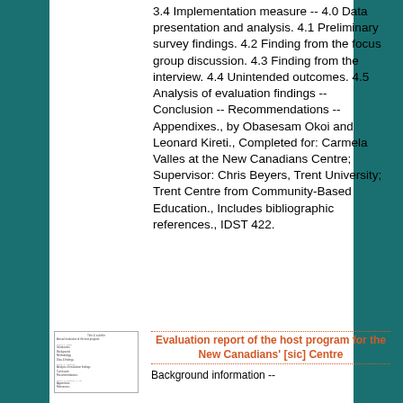3.4 Implementation measure -- 4.0 Data presentation and analysis. 4.1 Preliminary survey findings. 4.2 Finding from the focus group discussion. 4.3 Finding from the interview. 4.4 Unintended outcomes. 4.5 Analysis of evaluation findings -- Conclusion -- Recommendations -- Appendixes., by Obasesam Okoi and Leonard Kireti., Completed for: Carmela Valles at the New Canadians Centre; Supervisor: Chris Beyers, Trent University; Trent Centre from Community-Based Education., Includes bibliographic references., IDST 422.
[Figure (other): Small thumbnail image of a document page with a table of contents]
Evaluation report of the host program for the New Canadians' [sic] Centre
Background information --